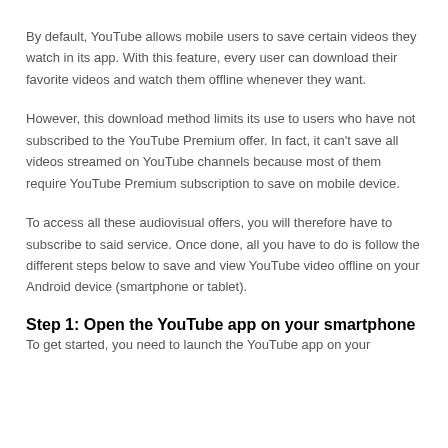By default, YouTube allows mobile users to save certain videos they watch in its app. With this feature, every user can download their favorite videos and watch them offline whenever they want.
However, this download method limits its use to users who have not subscribed to the YouTube Premium offer. In fact, it can't save all videos streamed on YouTube channels because most of them require YouTube Premium subscription to save on mobile device.
To access all these audiovisual offers, you will therefore have to subscribe to said service. Once done, all you have to do is follow the different steps below to save and view YouTube video offline on your Android device (smartphone or tablet).
Step 1: Open the YouTube app on your smartphone
To get started, you need to launch the YouTube app on your